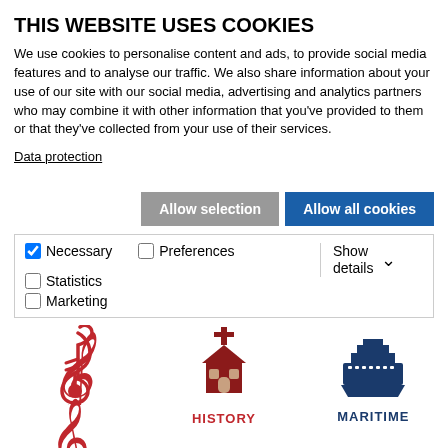THIS WEBSITE USES COOKIES
We use cookies to personalise content and ads, to provide social media features and to analyse our traffic. We also share information about your use of our site with our social media, advertising and analytics partners who may combine it with other information that you've provided to them or that they've collected from your use of their services.
Data protection
Allow selection | Allow all cookies
Necessary | Preferences | Statistics | Marketing | Show details
[Figure (illustration): Three category icons: a red treble clef (CULTURE), a dark red church icon (HISTORY), a dark blue cruise ship icon (MARITIME)]
[Figure (illustration): Three more category icons partially visible at the bottom: a blue information 'i' icon, a teal car/transport icon, and a reddish-brown building/architecture icon]